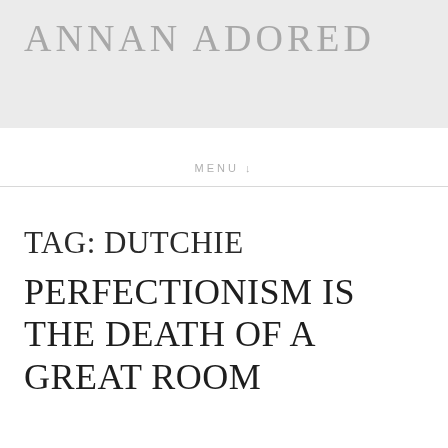ANNAN ADORED
MENU ↓
TAG: DUTCHIE
PERFECTIONISM IS THE DEATH OF A GREAT ROOM